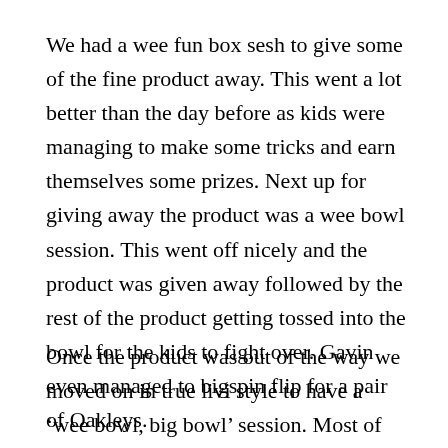We had a wee fun box sesh to give some of the fine product away. This went a lot better than the day before as kids were managing to make some tricks and earn themselves some prizes. Next up for giving away the product was a wee bowl session. This went off nicely and the product was given away followed by the rest of the product getting tossed into the bowl for the kids to fight over. Gavin even managed to bigspin flip for a pair of Oakleys.
Once the product was out of the way we moved on in true livi style to have a ‘wee bowl, big bowl’ session. Most of the skating seemed to be going on